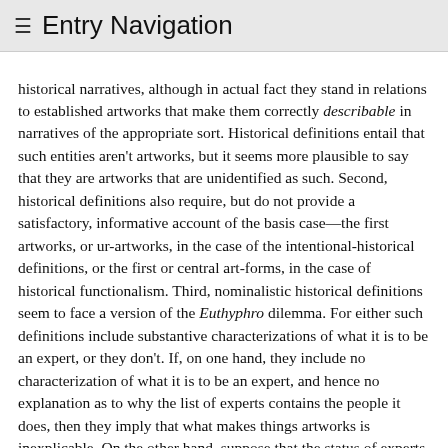≡ Entry Navigation
historical narratives, although in actual fact they stand in relations to established artworks that make them correctly describable in narratives of the appropriate sort. Historical definitions entail that such entities aren't artworks, but it seems more plausible to say that they are artworks that are unidentified as such. Second, historical definitions also require, but do not provide a satisfactory, informative account of the basis case—the first artworks, or ur-artworks, in the case of the intentional-historical definitions, or the first or central art-forms, in the case of historical functionalism. Third, nominalistic historical definitions seem to face a version of the Euthyphro dilemma. For either such definitions include substantive characterizations of what it is to be an expert, or they don't. If, on one hand, they include no characterization of what it is to be an expert, and hence no explanation as to why the list of experts contains the people it does, then they imply that what makes things artworks is inexplicable. On the other hand, suppose that the status of experts is substantively grounded, so that to be an expert